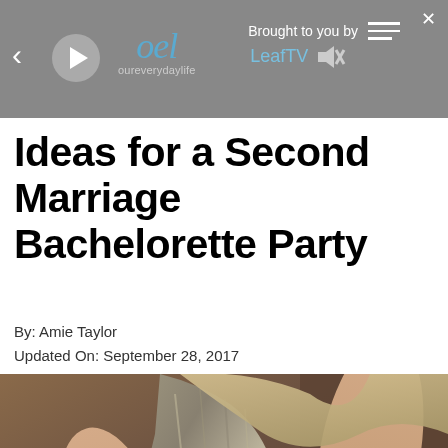oel oureverydaylife — Brought to you by LeafTV
Ideas for a Second Marriage Bachelorette Party
By: Amie Taylor
Updated On: September 28, 2017
[Figure (photo): Woman in a grey/silver satin halter dress, photo cropped at torso/shoulder level]